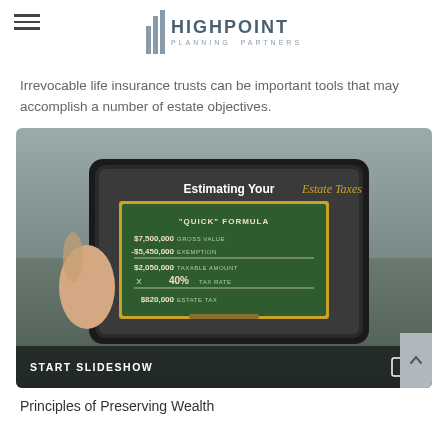HIGHPOINT PLANNING PARTNERS
Irrevocable life insurance trusts can be important tools that may accomplish a number of estate objectives.
[Figure (screenshot): A tablet being held showing a slideshow about Estimating Your Estate Taxes with a 'Quick' Formula chalkboard display. Values shown: $7,500,000 Gross Value, -$5,450,000 Exemption, $2,050,000 Taxable Amount, X 40% Tax Rate, $820,000 Estate Tax. Bottom bar reads START SLIDESHOW.]
Principles of Preserving Wealth